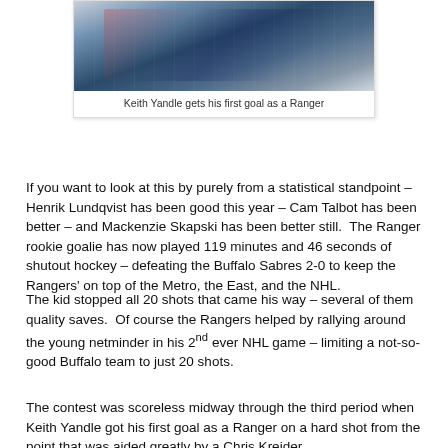[Figure (photo): Photo of New York Rangers hockey players in white uniforms with red and blue stripes, one holding a hockey stick]
Keith Yandle gets his first goal as a Ranger
If you want to look at this by purely from a statistical standpoint – Henrik Lundqvist has been good this year – Cam Talbot has been better – and Mackenzie Skapski has been better still.  The Ranger rookie goalie has now played 119 minutes and 46 seconds of shutout hockey – defeating the Buffalo Sabres 2-0 to keep the Rangers' on top of the Metro, the East, and the NHL.
The kid stopped all 20 shots that came his way – several of them quality saves.  Of course the Rangers helped by rallying around the young netminder in his 2nd ever NHL game – limiting a not-so-good Buffalo team to just 20 shots.
The contest was scoreless midway through the third period when Keith Yandle got his first goal as a Ranger on a hard shot from the point that was aided greatly by a Chris Kreider